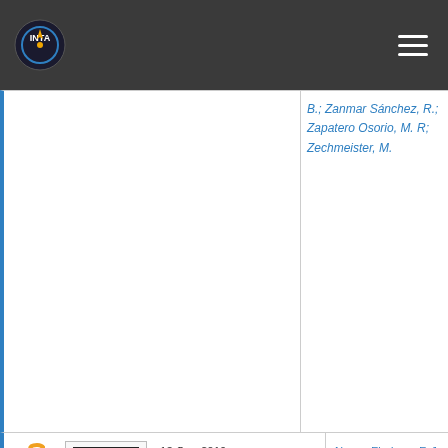[Figure (screenshot): Navigation bar with INTA logo on left and hamburger menu icon on right, dark gray background]
B.; Zanmar Sánchez, R.; Zapatero Osorio, M. R; Zechmeister, M.
12-Sep-2019
[Figure (thumbnail): Thumbnail of scientific paper]
He I λ 10 830 Å in the transmission spectrum of HD209458 b
Alonso Floriano, F. J; Snellen, I. A. G.; Czesla, S; Bauer, F. F.; Salz, M.; Lampón, M.; Lara, L. M; Nagel, E.; López Puerta M.; Nortmann L.; Sánchez López, A.;